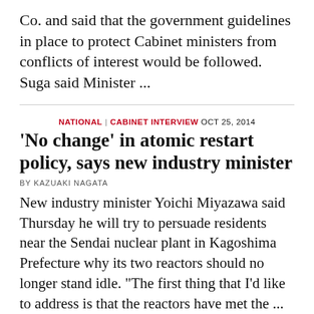Co. and said that the government guidelines in place to protect Cabinet ministers from conflicts of interest would be followed. Suga said Minister ...
NATIONAL | CABINET INTERVIEW OCT 25, 2014
'No change' in atomic restart policy, says new industry minister
BY KAZUAKI NAGATA
New industry minister Yoichi Miyazawa said Thursday he will try to persuade residents near the Sendai nuclear plant in Kagoshima Prefecture why its two reactors should no longer stand idle. "The first thing that I'd like to address is that the reactors have met the ...
NATIONAL / POLITICS OCT 23, 2014
New trade chief slapped by